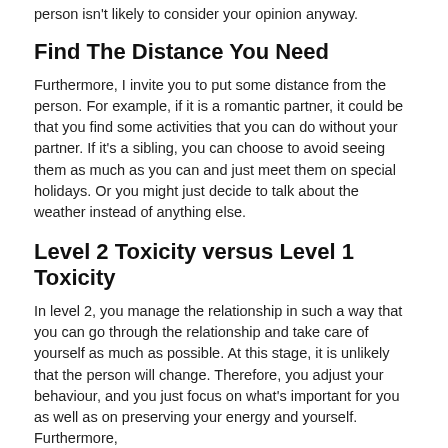person isn't likely to consider your opinion anyway.
Find The Distance You Need
Furthermore, I invite you to put some distance from the person. For example, if it is a romantic partner, it could be that you find some activities that you can do without your partner. If it's a sibling, you can choose to avoid seeing them as much as you can and just meet them on special holidays. Or you might just decide to talk about the weather instead of anything else.
Level 2 Toxicity versus Level 1 Toxicity
In level 2, you manage the relationship in such a way that you can go through the relationship and take care of yourself as much as possible. At this stage, it is unlikely that the person will change. Therefore, you adjust your behaviour, and you just focus on what's important for you as well as on preserving your energy and yourself. Furthermore,